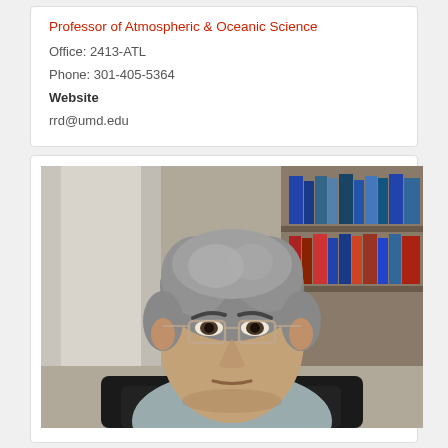Professor of Atmospheric & Oceanic Science
Office: 2413-ATL
Phone: 301-405-5364
Website
rrd@umd.edu
[Figure (photo): Headshot photo of a middle-aged man with gray hair and glasses, sitting in an office chair with bookshelves in the background.]